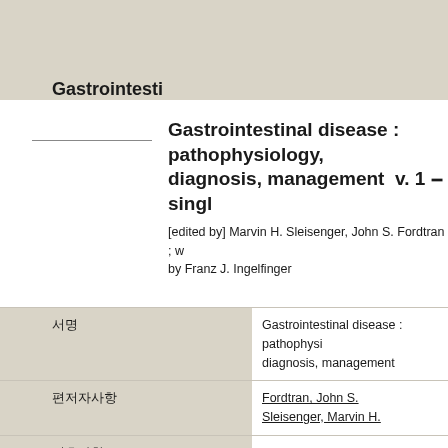Gastrointesti
Gastrointestinal disease : pathophysiology, diagnosis, management  v. 1 ‒ single
[edited by] Marvin H. Sleisenger, John S. Fordtran ; with a foreword by Franz J. Ingelfinger
|  |  |
| --- | --- |
| 서명 | Gastrointestinal disease : pathophysiology, diagnosis, management |
| 편저자사항 | Fordtran, John S.
Sleisenger, Marvin H. |
| 권호사항 | v. 1
v. 2
single |
| 발행처 | W.B. Saunders Co. |
| 발행년도 | 1978 |
| 판사항 | 2d ed |
| 소장정보 | 8 ed (d. in 1977, d. univ.) |